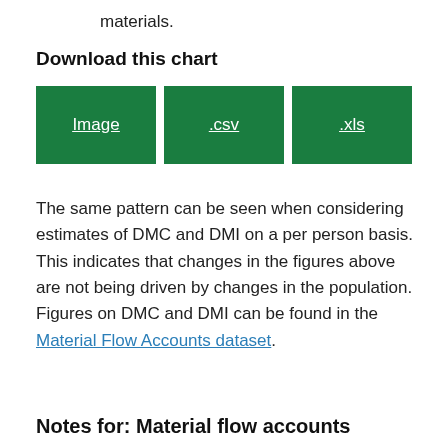materials.
Download this chart
[Figure (other): Three green download buttons labeled Image, .csv, and .xls]
The same pattern can be seen when considering estimates of DMC and DMI on a per person basis. This indicates that changes in the figures above are not being driven by changes in the population. Figures on DMC and DMI can be found in the Material Flow Accounts dataset.
Notes for: Material flow accounts